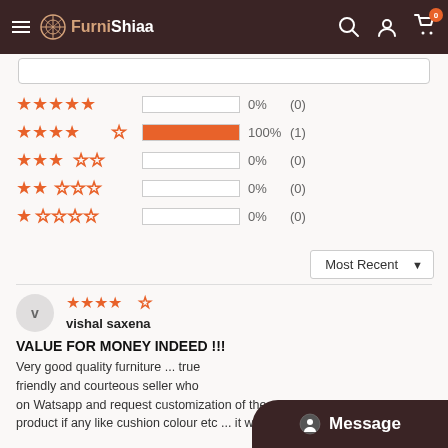FurniShiaa — navigation header with hamburger menu, logo, search, account, and cart icons
[Figure (infographic): Star rating breakdown: 5-star 0% (0), 4-star 100% (1), 3-star 0% (0), 2-star 0% (0), 1-star 0% (0)]
Most Recent dropdown selector
Reviewer: vishal saxena, 4-star rating
VALUE FOR MONEY INDEED !!!
Very good quality furniture ... true friendly and courteous seller who on Watsapp and request customization of the product if any like cushion colour etc ... it was my Nov...